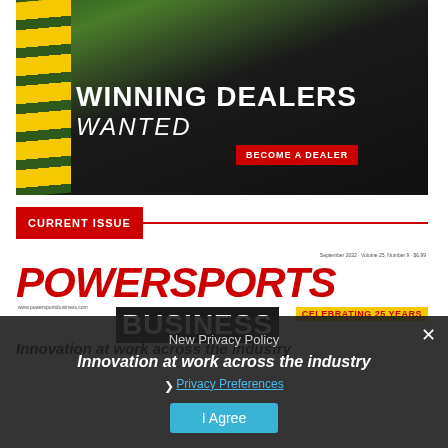[Figure (photo): Advertisement banner for motorcycle dealer recruitment. Dark road background with yellow curb markings. A motorcycle racer leaning into a curve. Bold white text reads 'WINNING DEALERS WANTED' with a red 'BECOME A DEALER' button.]
CURRENT ISSUE
[Figure (photo): Cover of PowerSports Business magazine. September 2022, Volume 25, Number 9. Large red italic masthead 'PowerSports' with 'Business' in dark bar. Gold banner 'CELEBRATING 25 YEARS'. Headline 'Innovation at work across the industry'.]
New Privacy Policy
Innovation at work across the industry
Privacy Preferences
I Agree